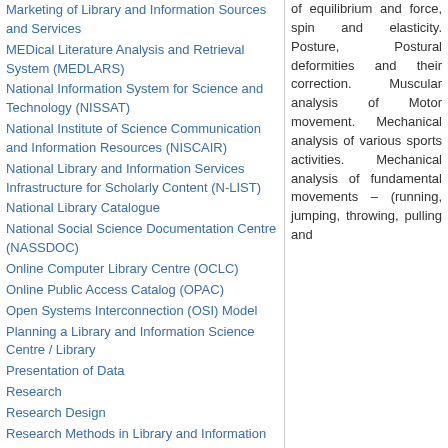Marketing of Library and Information Sources and Services
MEDical Literature Analysis and Retrieval System (MEDLARS)
National Information System for Science and Technology (NISSAT)
National Institute of Science Communication and Information Resources (NISCAIR)
National Library and Information Services Infrastructure for Scholarly Content (N-LIST)
National Library Catalogue
National Social Science Documentation Centre (NASSDOC)
Online Computer Library Centre (OCLC)
Online Public Access Catalog (OPAC)
Open Systems Interconnection (OSI) Model
Planning a Library and Information Science Centre / Library
Presentation of Data
Research
Research Design
Research Methods in Library and Information Science and Services
Research Report
Research Supervisors / Monitoring and Evaluation
Resource Description and Access (RDA)
Retrospective Conversion
Sampling Technique
Sharing Resource
of equilibrium and force, spin and elasticity. Posture, Postural deformities and their correction. Muscular analysis of Motor movement. Mechanical analysis of various sports activities. Mechanical analysis of fundamental movements – (running, jumping, throwing, pulling and